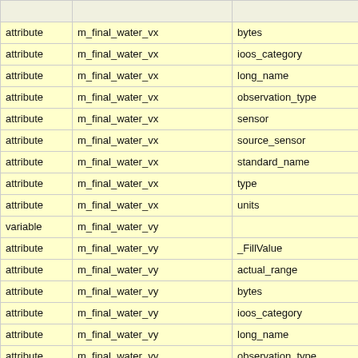|  |  |  |
| --- | --- | --- |
| attribute | m_final_water_vx | bytes |
| attribute | m_final_water_vx | ioos_category |
| attribute | m_final_water_vx | long_name |
| attribute | m_final_water_vx | observation_type |
| attribute | m_final_water_vx | sensor |
| attribute | m_final_water_vx | source_sensor |
| attribute | m_final_water_vx | standard_name |
| attribute | m_final_water_vx | type |
| attribute | m_final_water_vx | units |
| variable | m_final_water_vy |  |
| attribute | m_final_water_vy | _FillValue |
| attribute | m_final_water_vy | actual_range |
| attribute | m_final_water_vy | bytes |
| attribute | m_final_water_vy | ioos_category |
| attribute | m_final_water_vy | long_name |
| attribute | m_final_water_vy | observation_type |
| attribute | m_final_water_vy | sensor |
| attribute | m_final_water_vy | source_sensor |
| attribute | m_final_water_vy | standard_name |
| attribute | m_final_water_vy | type |